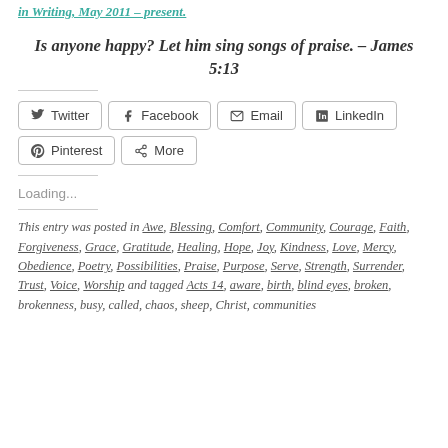in Writing, May 2011 – present.
Is anyone happy?  Let him sing songs of praise. – James 5:13
[Figure (other): Social share buttons: Twitter, Facebook, Email, LinkedIn, Pinterest, More]
Loading...
This entry was posted in Awe, Blessing, Comfort, Community, Courage, Faith, Forgiveness, Grace, Gratitude, Healing, Hope, Joy, Kindness, Love, Mercy, Obedience, Poetry, Possibilities, Praise, Purpose, Serve, Strength, Surrender, Trust, Voice, Worship and tagged Acts 14, aware, birth, blind eyes, broken, brokenness, busy, called, chaos, sheep, Christ, communities